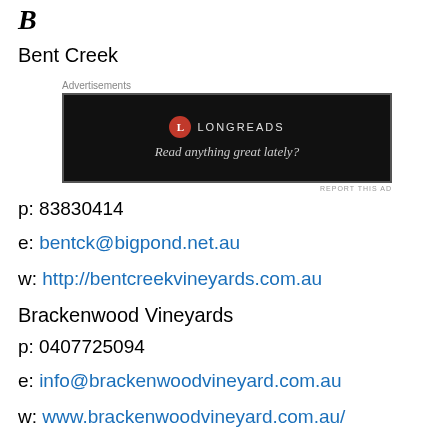B
Bent Creek
[Figure (screenshot): Advertisement banner for Longreads showing a black box with the Longreads logo (red circle with L) and tagline 'Read anything great lately?']
p: 83830414
e: bentck@bigpond.net.au
w: http://bentcreekvineyards.com.au
Brackenwood Vineyards
p: 0407725094
e: info@brackenwoodvineyard.com.au
w: www.brackenwoodvineyard.com.au/